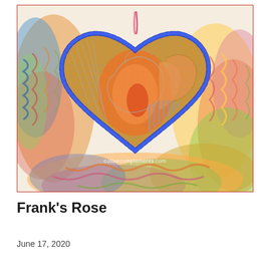[Figure (photo): A heart-shaped needlepoint ornament featuring a rose design in orange and peach tones on a gold/tan canvas, with green diamond checkerboard pattern in the lower left, blue twisted rope border around the heart, and a background of colorful multicolor twisted embroidery thread skeins in pink, yellow, green, and blue. A watermark reads 'colourcomplements.com'.]
Frank's Rose
June 17, 2020